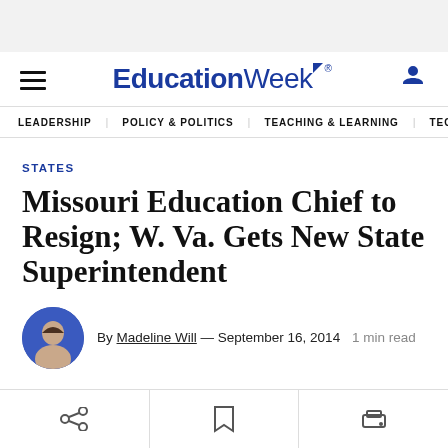EducationWeek
STATES
Missouri Education Chief to Resign; W. Va. Gets New State Superintendent
By Madeline Will — September 16, 2014  1 min read